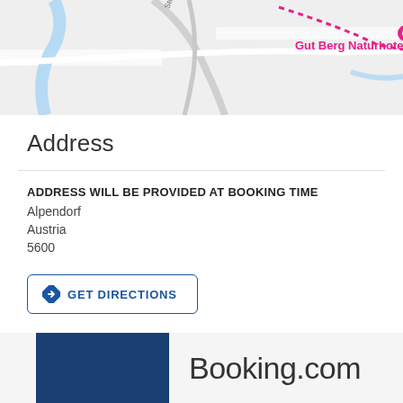[Figure (map): Google Maps view showing Gut Berg Naturhotel location with a pink map pin marker, street labeled Steinklammstraße, blue waterway, and a dotted red route line in the upper right.]
Address
ADDRESS WILL BE PROVIDED AT BOOKING TIME
Alpendorf
Austria
5600
GET DIRECTIONS
[Figure (logo): Booking.com logo with a solid dark blue rectangle on the left and 'Booking.com' text on the right.]